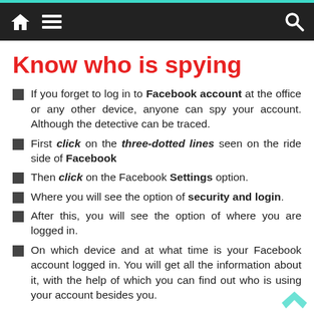Navigation bar with home, menu, and search icons
Know who is spying
If you forget to log in to Facebook account at the office or any other device, anyone can spy your account. Although the detective can be traced.
First click on the three-dotted lines seen on the ride side of Facebook
Then click on the Facebook Settings option.
Where you will see the option of security and login.
After this, you will see the option of where you are logged in.
On which device and at what time is your Facebook account logged in. You will get all the information about it, with the help of which you can find out who is using your account besides you.